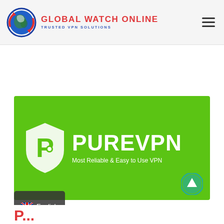[Figure (logo): Global Watch Online logo with globe and arrows icon, red and blue branding, 'TRUSTED VPN SOLUTIONS' subtitle]
[Figure (illustration): PureVPN banner on green background with shield logo and text 'PUREVPN Most Reliable & Easy to Use VPN', scroll-up button in bottom right, English language selector in bottom left]